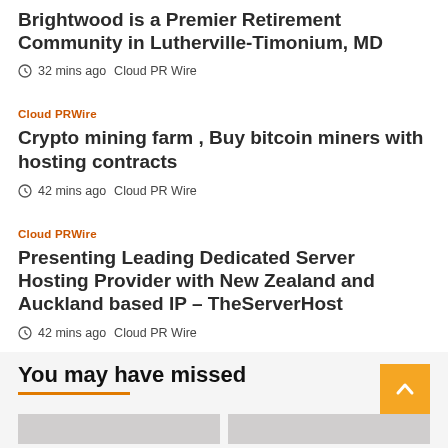Brightwood is a Premier Retirement Community in Lutherville-Timonium, MD
32 mins ago   Cloud PR Wire
Cloud PRWire
Crypto mining farm , Buy bitcoin miners with hosting contracts
42 mins ago   Cloud PR Wire
Cloud PRWire
Presenting Leading Dedicated Server Hosting Provider with New Zealand and Auckland based IP – TheServerHost
42 mins ago   Cloud PR Wire
You may have missed